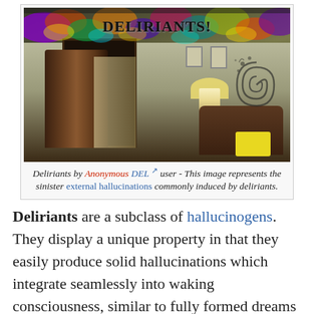[Figure (photo): A digitally manipulated photo of a dark room with curtains, door, sofa, lamp and yellow stool. The top has a psychedelic colorful swirling border with the text 'DELIRIANTS!' overlaid. The right wall has dark ink splatter and spiral drawings.]
Deliriants by Anonymous DEL user - This image represents the sinister external hallucinations commonly induced by deliriants.
Deliriants are a subclass of hallucinogens. They display a unique property in that they easily produce solid hallucinations which integrate seamlessly into waking consciousness, similar to fully formed dreams